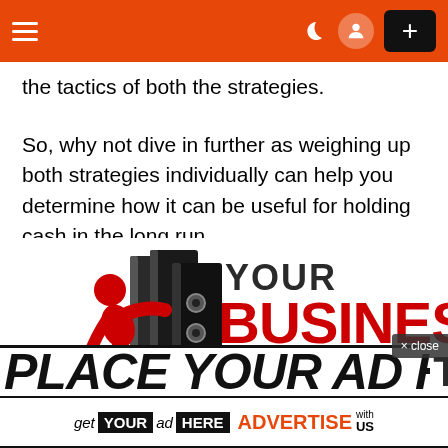Navigation header with hamburger menu, moon icon, user icon, and plus button
the tactics of both the strategies.
So, why not dive in further as weighing up both strategies individually can help you determine how it can be useful for holding cash in the long run.
[Figure (logo): Your Business Support logo — red figure pushing large black binders, text reading YOUR BUSINESS SUPPORT, WE MAKE YOU BETTER AT WHAT YOU DO BEST]
PLACE YOUR AD HERE
get YOUR ad HERE ADVERTISE with US
× close